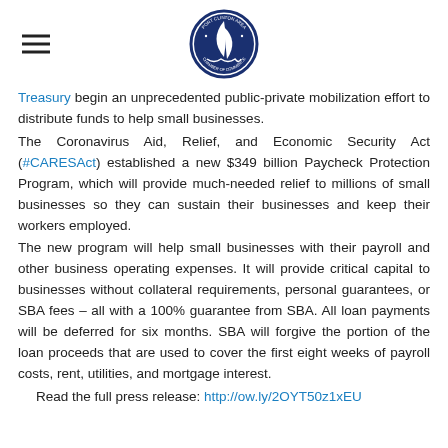Port Clinton Area Chamber of Commerce logo and hamburger menu
Treasury begin an unprecedented public-private mobilization effort to distribute funds to help small businesses.
The Coronavirus Aid, Relief, and Economic Security Act (#CARESAct) established a new $349 billion Paycheck Protection Program, which will provide much-needed relief to millions of small businesses so they can sustain their businesses and keep their workers employed.
The new program will help small businesses with their payroll and other business operating expenses. It will provide critical capital to businesses without collateral requirements, personal guarantees, or SBA fees – all with a 100% guarantee from SBA. All loan payments will be deferred for six months. SBA will forgive the portion of the loan proceeds that are used to cover the first eight weeks of payroll costs, rent, utilities, and mortgage interest.
Read the full press release: http://ow.ly/2OYT50z1xEU